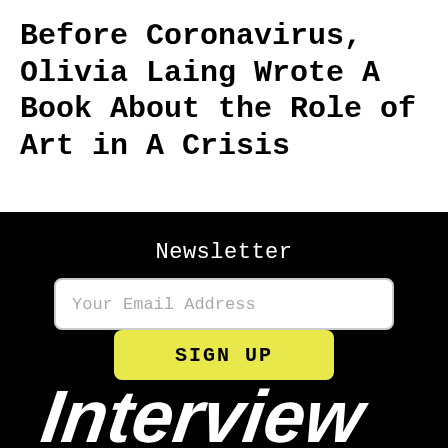Before Coronavirus, Olivia Laing Wrote A Book About the Role of Art in A Crisis
Newsletter
[Figure (screenshot): Email newsletter signup form with a white input field labeled 'Your Email Address' and a yellow 'SIGN UP' button]
[Figure (logo): Interview magazine logo in white handwritten/brush script text on black background]